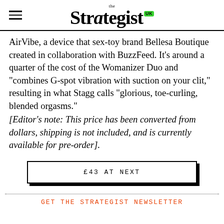the Strategist UK
AirVibe, a device that sex-toy brand Bellesa Boutique created in collaboration with BuzzFeed. It's around a quarter of the cost of the Womanizer Duo and “combines G-spot vibration with suction on your clit,” resulting in what Stagg calls “glorious, toe-curling, blended orgasms.”
[Editor’s note: This price has been converted from dollars, shipping is not included, and is currently available for pre-order].
£43 AT NEXT
GET THE STRATEGIST NEWSLETTER